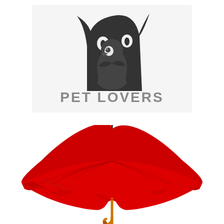[Figure (logo): Pet Lovers logo with stylized dark silhouettes of a cat and bird, with text 'PET LOVERS' below in bold gray letters]
[Figure (illustration): A red open umbrella with an orange/yellow wooden handle, viewed from the front, symbolizing insurance coverage]